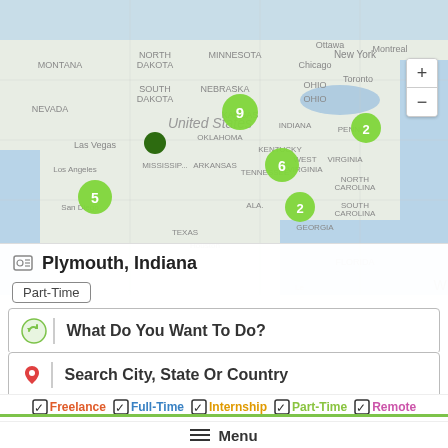[Figure (map): Interactive map of the United States showing job location clusters. Green circle markers with numbers: 9 (Nebraska/Iowa area), 5 (California/southwest area), 6 (West Virginia/Kentucky area), 2 (Pennsylvania/New Jersey area), 2 (Alabama/Georgia area). Dark green dot marker near Colorado. Map shows US geography with state labels.]
Plymouth, Indiana
Part-Time
What Do You Want To Do?
Search City, State Or Country
Freelance  Full-Time  Internship  Part-Time  Remote
Deli Production Team Member
PILOT COMPANY
Roland, Oklahoma
Menu